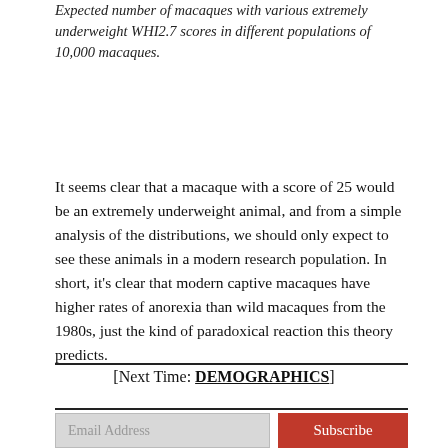Expected number of macaques with various extremely underweight WHI2.7 scores in different populations of 10,000 macaques.
It seems clear that a macaque with a score of 25 would be an extremely underweight animal, and from a simple analysis of the distributions, we should only expect to see these animals in a modern research population. In short, it’s clear that modern captive macaques have higher rates of anorexia than wild macaques from the 1980s, just the kind of paradoxical reaction this theory predicts.
[Next Time: DEMOGRAPHICS]